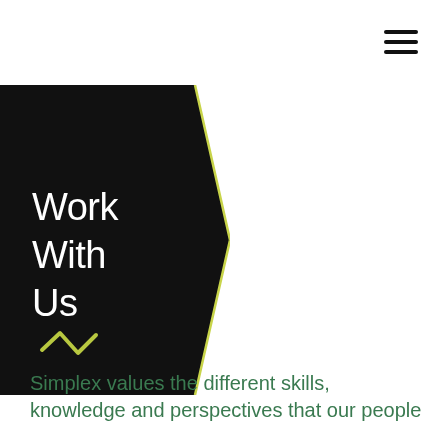[Figure (illustration): Hamburger menu icon — three horizontal black lines in upper right corner]
[Figure (illustration): Black pentagon/arrow-right shaped hero block with white text 'Work With Us' and a yellow/olive squiggle icon below the text]
Simplex values the different skills, knowledge and perspectives that our people